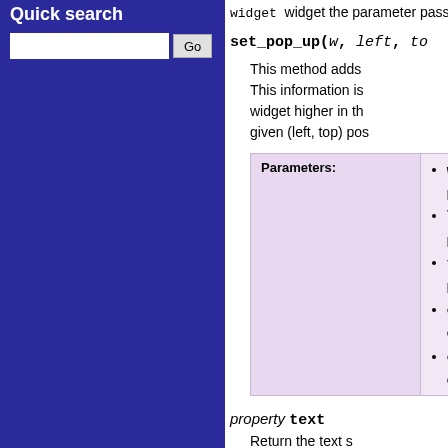Quick search
widget  widget the parameter passed focus parameter pa
set_pop_up(w, left, to
This method adds This information is widget higher in th given (left, top) pos
| Parameters: |  |
| --- | --- |
|  | w p |
|  | le p |
|  | to p |
|  | o o |
|  | o o |
property text
Return the text s